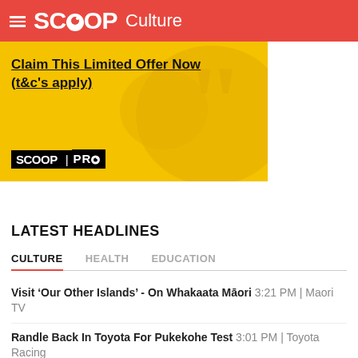SCOOP Culture
[Figure (screenshot): Scoop Pro promotional banner ad on yellow background with large quotation mark graphic. Text: 'Claim This Limited Offer Now (t&c's apply)' with SCOOP | PRO logo.]
LATEST HEADLINES
CULTURE   HEALTH   EDUCATION
Visit ‘Our Other Islands’ - On Whakaata Māori 3:21 PM | Maori TV
Randle Back In Toyota For Pukekohe Test 3:01 PM | Toyota Racing
Highball Cocktail Festival Cancelled For 2022 2:09 PM | Highball Cocktail Festival
NZME’s Coast & Go Media Countdown Top All-time ‘Feel Good’ Songs 1:53 PM | NZME